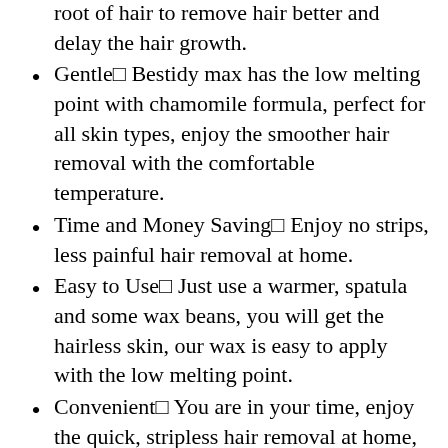root of hair to remove hair better and delay the hair growth.
Gentle□ Bestidy max has the low melting point with chamomile formula, perfect for all skin types, enjoy the smoother hair removal with the comfortable temperature.
Time and Money Saving□ Enjoy no strips, less painful hair removal at home.
Easy to Use□ Just use a warmer, spatula and some wax beans, you will get the hairless skin, our wax is easy to apply with the low melting point.
Convenient□ You are in your time, enjoy the quick, stripless hair removal at home, no more to salons, our wax melts quickly, easy to apply and tear in a thorough way.